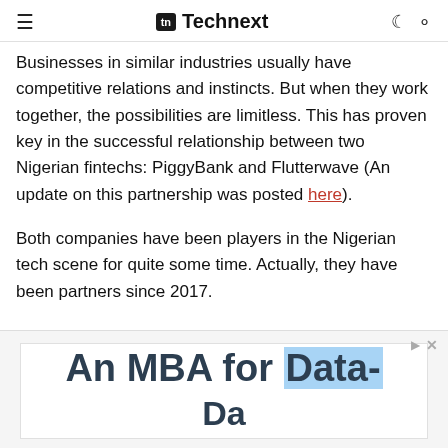≡  tn Technext  ☾ 🔍
Businesses in similar industries usually have competitive relations and instincts. But when they work together, the possibilities are limitless. This has proven key in the successful relationship between two Nigerian fintechs: PiggyBank and Flutterwave (An update on this partnership was posted here).
Both companies have been players in the Nigerian tech scene for quite some time. Actually, they have been partners since 2017.
[Figure (other): Advertisement banner with text 'An MBA for Data-' with partial second line visible, partially highlighted in light blue]